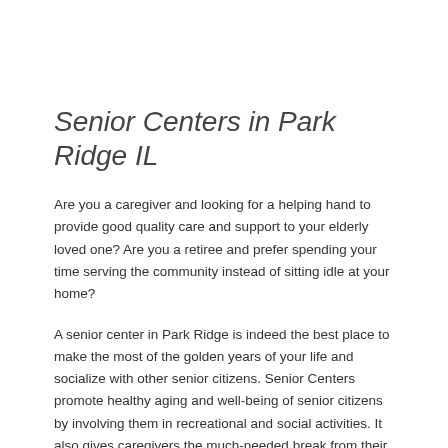Senior Centers in Park Ridge IL
Are you a caregiver and looking for a helping hand to provide good quality care and support to your elderly loved one? Are you a retiree and prefer spending your time serving the community instead of sitting idle at your home?
A senior center in Park Ridge is indeed the best place to make the most of the golden years of your life and socialize with other senior citizens. Senior Centers promote healthy aging and well-being of senior citizens by involving them in recreational and social activities. It also gives caregivers the much-needed break from their hectic routine.
If you are looking for a senior center in Park Ridge, you have come to the right place. Seniorcenter.us has an extensive database of senior